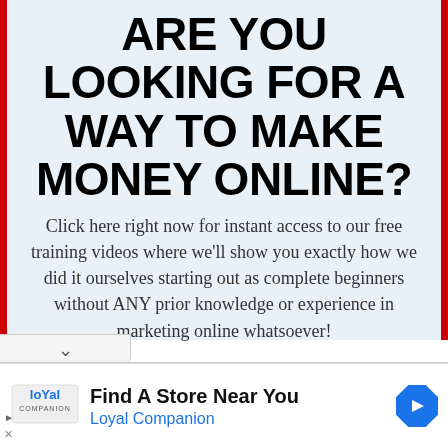ARE YOU LOOKING FOR A WAY TO MAKE MONEY ONLINE?
Click here right now for instant access to our free training videos where we'll show you exactly how we did it ourselves starting out as complete beginners without ANY prior knowledge or experience in marketing online whatsoever!
[Figure (logo): Bottom banner ad: Loyal Companion logo with text 'Find A Store Near You' and 'Loyal Companion', with a blue diamond direction arrow icon]